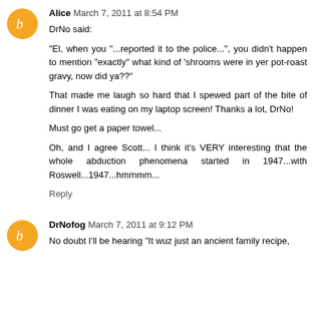Alice  March 7, 2011 at 8:54 PM
DrNo said:

"El, when you "...reported it to the police...", you didn't happen to mention "exactly" what kind of 'shrooms were in yer pot-roast gravy, now did ya??"

That made me laugh so hard that I spewed part of the bite of dinner I was eating on my laptop screen! Thanks a lot, DrNo!

Must go get a paper towel...

Oh, and I agree Scott... I think it's VERY interesting that the whole abduction phenomena started in 1947...with Roswell...1947...hmmmm...
Reply
DrNofog  March 7, 2011 at 9:12 PM
No doubt I'll be hearing "It wuz just an ancient family recipe,